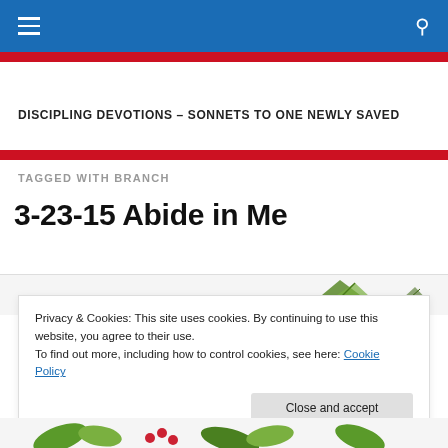Navigation bar with hamburger menu and search icon
DISCIPLING DEVOTIONS – SONNETS TO ONE NEWLY SAVED
TAGGED WITH BRANCH
3-23-15 Abide in Me
[Figure (illustration): Partial decorative illustration of botanical/floral motif with leaves and berries]
Privacy & Cookies: This site uses cookies. By continuing to use this website, you agree to their use.
To find out more, including how to control cookies, see here: Cookie Policy
Close and accept